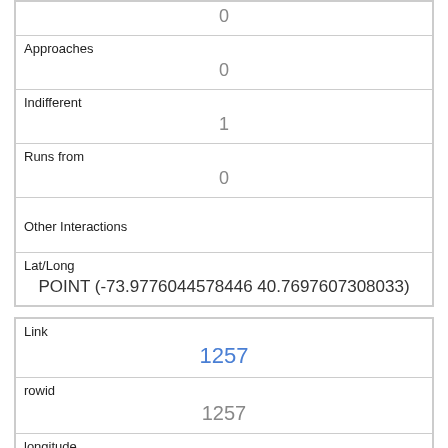| 0 |
| Approaches | 0 |
| Indifferent | 1 |
| Runs from | 0 |
| Other Interactions |  |
| Lat/Long | POINT (-73.9776044578446 40.7697607308033) |
| Link | 1257 |
| rowid | 1257 |
| longitude | -73.97672475936541 |
| latitude | 40.772620005419704 |